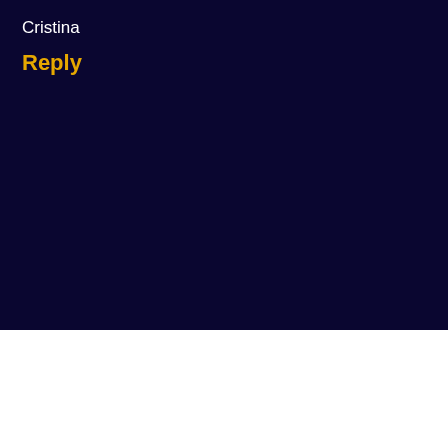Cristina
Reply
[Figure (screenshot): Dark navy blue background area below the reply header, representing a web page comment/reply section with empty content area.]
[Figure (infographic): Walgreens advertisement banner: Walgreens red cursive W logo, text 'BOGO 50% Off Select Walgreens Brand Wellness Products', blue diamond navigation arrow icon, and ad controls (play/close).]